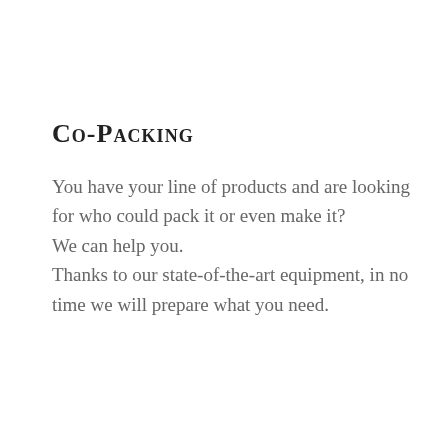Co-Packing
You have your line of products and are looking for who could pack it or even make it? We can help you. Thanks to our state-of-the-art equipment, in no time we will prepare what you need.